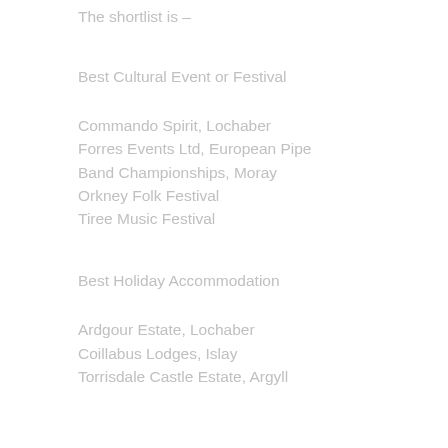The shortlist is –
Best Cultural Event or Festival
Commando Spirit, Lochaber
Forres Events Ltd, European Pipe Band Championships, Moray
Orkney Folk Festival
Tiree Music Festival
Best Holiday Accommodation
Ardgour Estate, Lochaber
Coillabus Lodges, Islay
Torrisdale Castle Estate, Argyll